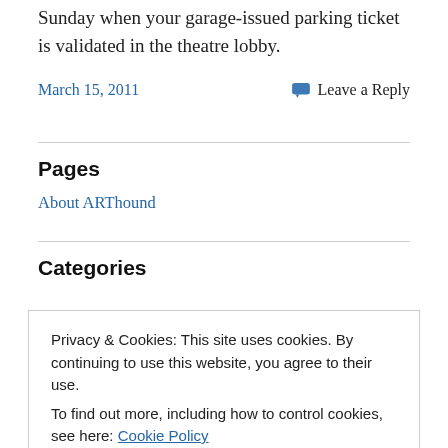Sunday when your garage-issued parking ticket is validated in the theatre lobby.
March 15, 2011
Leave a Reply
Pages
About ARThound
Categories
Privacy & Cookies: This site uses cookies. By continuing to use this website, you agree to their use.
To find out more, including how to control cookies, see here: Cookie Policy
Close and accept
Legion of Honor (16)